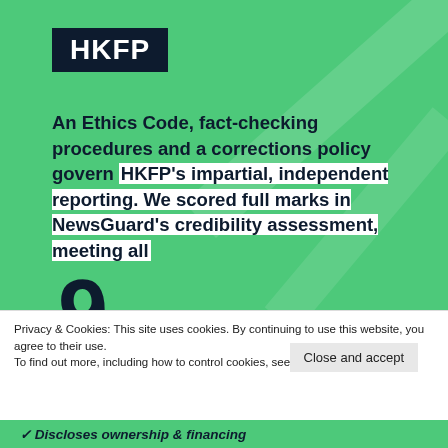[Figure (logo): HKFP logo: white bold text on dark navy background]
An Ethics Code, fact-checking procedures and a corrections policy govern HKFP's impartial, independent reporting. We scored full marks in NewsGuard's credibility assessment, meeting all 9 criteria:
Privacy & Cookies: This site uses cookies. By continuing to use this website, you agree to their use.
To find out more, including how to control cookies, see here: Cookie Policy
Close and accept
✓ Discloses ownership & financing